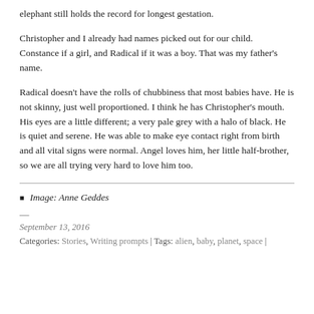elephant still holds the record for longest gestation.
Christopher and I already had names picked out for our child. Constance if a girl, and Radical if it was a boy. That was my father's name.
Radical doesn't have the rolls of chubbiness that most babies have. He is not skinny, just well proportioned. I think he has Christopher's mouth. His eyes are a little different; a very pale grey with a halo of black. He is quiet and serene. He was able to make eye contact right from birth and all vital signs were normal. Angel loves him, her little half-brother, so we are all trying very hard to love him too.
Image: Anne Geddes
—
September 13, 2016
Categories: Stories, Writing prompts | Tags: alien, baby, planet, space |